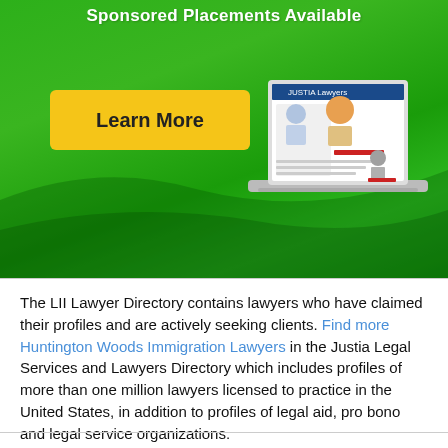Sponsored Placements Available
[Figure (illustration): Green banner with Learn More yellow button and laptop showing Justia Lawyers directory interface]
The LII Lawyer Directory contains lawyers who have claimed their profiles and are actively seeking clients. Find more Huntington Woods Immigration Lawyers in the Justia Legal Services and Lawyers Directory which includes profiles of more than one million lawyers licensed to practice in the United States, in addition to profiles of legal aid, pro bono and legal service organizations.
Lawyers - Claim and update full profiles for free!